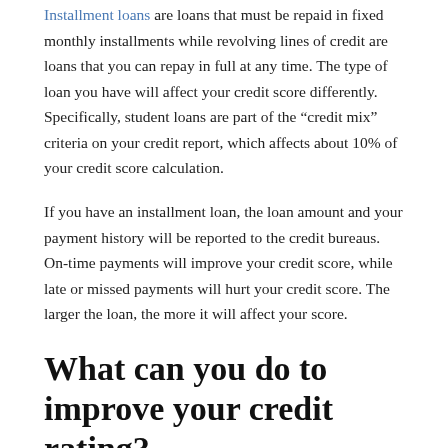Installment loans are loans that must be repaid in fixed monthly installments while revolving lines of credit are loans that you can repay in full at any time. The type of loan you have will affect your credit score differently. Specifically, student loans are part of the “credit mix” criteria on your credit report, which affects about 10% of your credit score calculation.
If you have an installment loan, the loan amount and your payment history will be reported to the credit bureaus. On-time payments will improve your credit score, while late or missed payments will hurt your credit score. The larger the loan, the more it will affect your score.
What can you do to improve your credit rating?
If you’re worried about how your student loan is affecting your credit score, there are things you can do to improve your score. First, make sure you make all your payments on time. This is the most critical factor in your credit score, so staying on top of your payments is essential. If you can, make more than the minimum payment each month. This will help you repay your loans faster and improve your credit utilization rate.